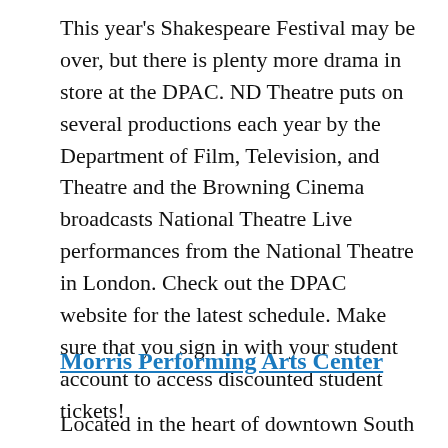This year's Shakespeare Festival may be over, but there is plenty more drama in store at the DPAC. ND Theatre puts on several productions each year by the Department of Film, Television, and Theatre and the Browning Cinema broadcasts National Theatre Live performances from the National Theatre in London. Check out the DPAC website for the latest schedule. Make sure that you sign in with your student account to access discounted student tickets!
Morris Performing Arts Center
Located in the heart of downtown South Bend,